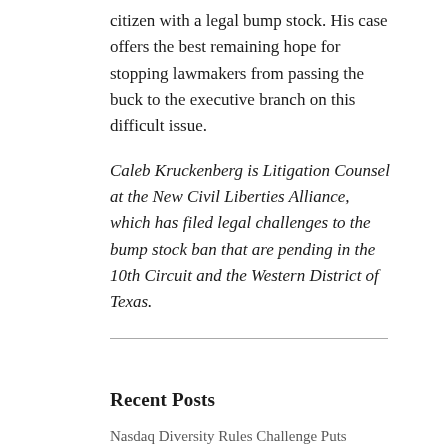citizen with a legal bump stock. His case offers the best remaining hope for stopping lawmakers from passing the buck to the executive branch on this difficult issue.
Caleb Kruckenberg is Litigation Counsel at the New Civil Liberties Alliance, which has filed legal challenges to the bump stock ban that are pending in the 10th Circuit and the Western District of Texas.
Recent Posts
Nasdaq Diversity Rules Challenge Puts Conservatives on Defense
Showdown Over Nasdaq Board Diversity Rule Heads to